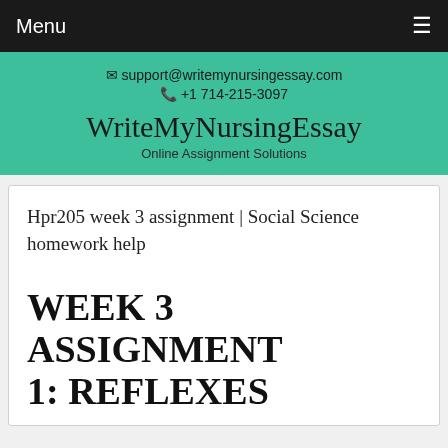Menu ☰
✉ support@writemynursingessay.com
📞 +1 714-215-3097
WriteMyNursingEssay
Online Assignment Solutions
Hpr205 week 3 assignment | Social Science homework help
WEEK 3 ASSIGNMENT 1: REFLEXES